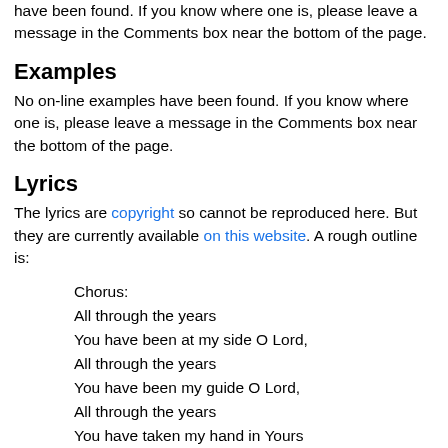have been found. If you know where one is, please leave a message in the Comments box near the bottom of the page.
Examples
No on-line examples have been found. If you know where one is, please leave a message in the Comments box near the bottom of the page.
Lyrics
The lyrics are copyright so cannot be reproduced here. But they are currently available on this website. A rough outline is:
Chorus:
All through the years
You have been at my side O Lord,
All through the years
You have been my guide O Lord,
All through the years
You have taken my hand in Yours
Kept me in Your love